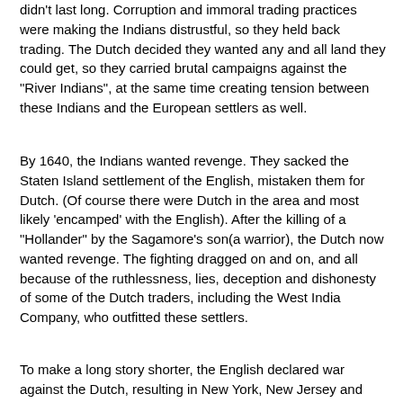didn't last long. Corruption and immoral trading practices were making the Indians distrustful, so they held back trading. The Dutch decided they wanted any and all land they could get, so they carried brutal campaigns against the "River Indians", at the same time creating tension between these Indians and the European settlers as well.
By 1640, the Indians wanted revenge. They sacked the Staten Island settlement of the English, mistaken them for Dutch. (Of course there were Dutch in the area and most likely 'encamped' with the English). After the killing of a "Hollander" by the Sagamore's son(a warrior), the Dutch now wanted revenge. The fighting dragged on and on, and all because of the ruthlessness, lies, deception and dishonesty of some of the Dutch traders, including the West India Company, who outfitted these settlers.
To make a long story shorter, the English declared war against the Dutch, resulting in New York, New Jersey and